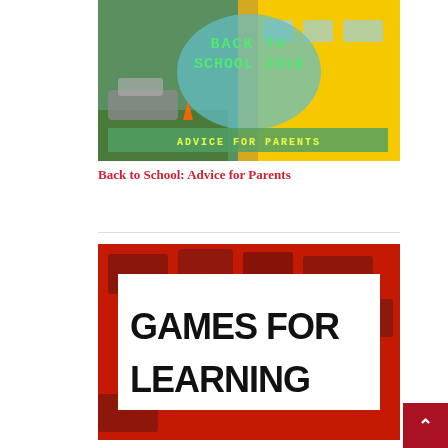[Figure (photo): Back to School 2018 image with a school bus, green background, teal bubble overlay with green chalk-style text reading 'BACK TO SCHOOL 2018', and a banner at the bottom reading 'ADVICE FOR PARENTS']
Back to School: Advice for Parents
[Figure (photo): Red-tinted photo of laptops and computers on a desk with a white rectangle overlay containing bold black text: 'GAMES FOR LEARNING']
Games for Change: GBLxAPI and More